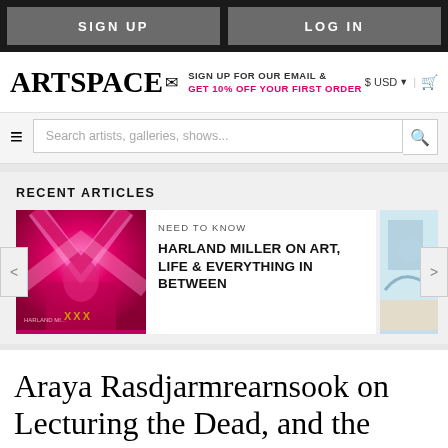SIGN UP | LOG IN
[Figure (logo): Artspace logo with envelope icon, sign-up text, USD currency selector and cart icon]
Search artists, galleries, shows...
RECENT ARTICLES
[Figure (photo): Harland Miller book cover with pink artwork background]
NEED TO KNOW
HARLAND MILLER ON ART, LIFE & EVERYTHING IN BETWEEN
Araya Rasdjarmrearnsook on Lecturing the Dead, and the